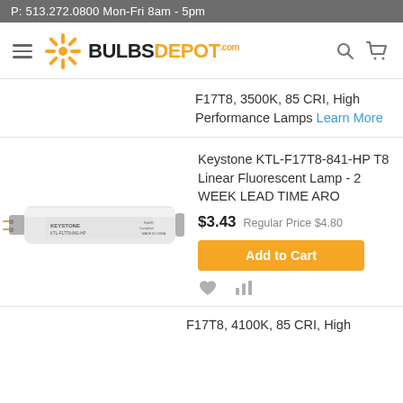P: 513.272.0800 Mon-Fri 8am - 5pm
[Figure (logo): BulbsDepot.com logo with orange starburst icon and hamburger menu, search and cart icons]
F17T8, 3500K, 85 CRI, High Performance Lamps Learn More
[Figure (photo): Keystone KTL-F17T8-841-HP T8 linear fluorescent lamp product photo]
Keystone KTL-F17T8-841-HP T8 Linear Fluorescent Lamp - 2 WEEK LEAD TIME ARO
$3.43 Regular Price $4.80
Add to Cart
F17T8, 4100K, 85 CRI, High